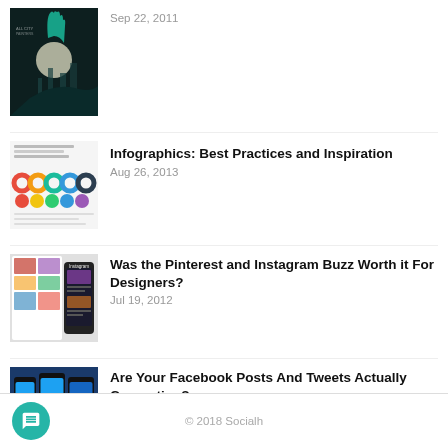[Figure (photo): Dark atmospheric digital art poster with a hand reaching up, moon, and cityscape silhouette]
Sep 22, 2011
[Figure (infographic): Infographic thumbnail showing colorful pie/donut charts and data rows]
Infographics: Best Practices and Inspiration
Aug 26, 2013
[Figure (screenshot): Screenshot of Pinterest and Instagram on mobile and desktop]
Was the Pinterest and Instagram Buzz Worth it For Designers?
Jul 19, 2012
[Figure (photo): Three mobile phones displaying Twitter bird logo on blue backgrounds]
Are Your Facebook Posts And Tweets Actually Converting?
Oct 27, 2014
1
© 2018 Socialh